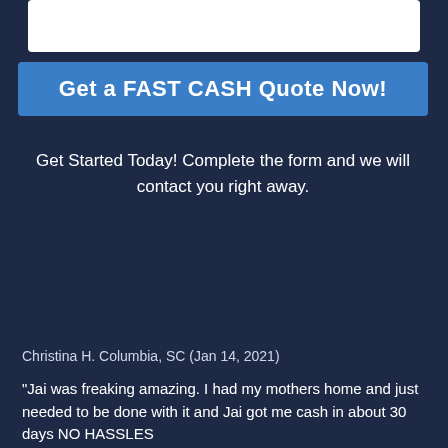[Figure (other): White input form box at the top of the page]
Get a FAST CASH Quote Now!
Get Started Today! Complete the form and we will contact you right away.
[Figure (other): Testimonials watermark text in cursive style with navigation arrows]
Christina H. Columbia, SC (Jan 14, 2021)
"Jai was freaking amazing. I had my mothers home and just needed to be done with it and Jai got me cash in about 30 days NO HASSLES